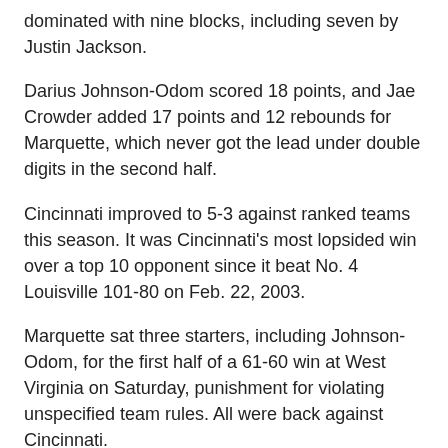dominated with nine blocks, including seven by Justin Jackson.
Darius Johnson-Odom scored 18 points, and Jae Crowder added 17 points and 12 rebounds for Marquette, which never got the lead under double digits in the second half.
Cincinnati improved to 5-3 against ranked teams this season. It was Cincinnati's most lopsided win over a top 10 opponent since it beat No. 4 Louisville 101-80 on Feb. 22, 2003.
Marquette sat three starters, including Johnson-Odom, for the first half of a 61-60 win at West Virginia on Saturday, punishment for violating unspecified team rules. All were back against Cincinnati.
The Bearcats honored seniors Dixon and Yancy Gates before the final home game. Gates set a tone early, getting five rebounds before picking up his second foul on